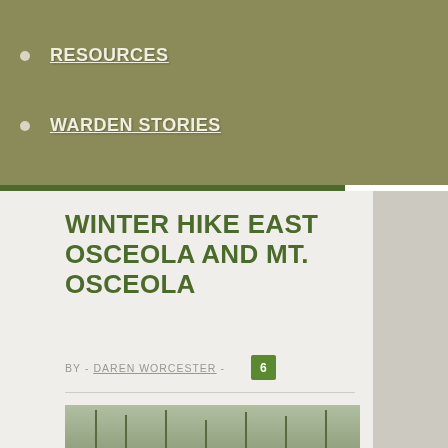RESOURCES
WARDEN STORIES
WINTER HIKE EAST OSCEOLA AND MT. OSCEOLA
BY  -  DAREN WORCESTER  -  6
[Figure (photo): Trail sign for USFS Greeley Ponds Trail showing MT Osceola Trail 1.3, Greeley Ponds 1.0, Livermore Trail 0.0, with snowy forest in background]